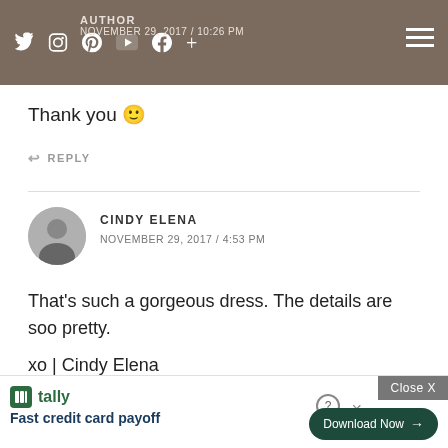AUTHOR NOVEMBER 29, 2017 / 10:26 PM
Thank you 🙂
↩ REPLY
CINDY ELENA
NOVEMBER 29, 2017 / 4:53 PM
That's such a gorgeous dress. The details are soo pretty.

xo | Cindy Elena
http://www.boringclothes.com
↩ REPLY
LORNA
[Figure (other): Advertisement overlay: Tally app ad with 'Fast credit card payoff' text, Download Now button, Close X button]